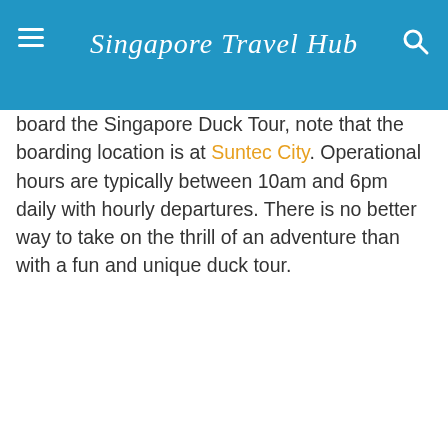Singapore Travel Hub
board the Singapore Duck Tour, note that the boarding location is at Suntec City. Operational hours are typically between 10am and 6pm daily with hourly departures. There is no better way to take on the thrill of an adventure than with a fun and unique duck tour.